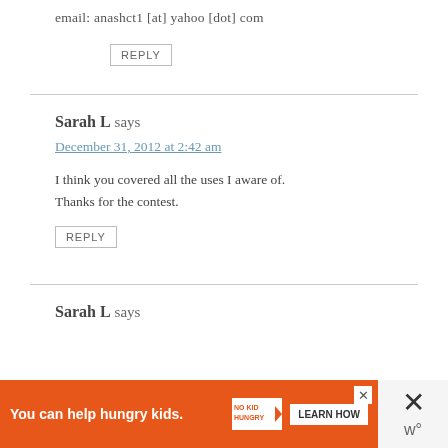email: anashct1 [at] yahoo [dot] com
REPLY
Sarah L says
December 31, 2012 at 2:42 am
I think you covered all the uses I aware of. Thanks for the contest.
REPLY
Sarah L says
[Figure (infographic): Orange advertisement banner: 'You can help hungry kids.' with No Kid Hungry logo and 'LEARN HOW' button, with close X button]